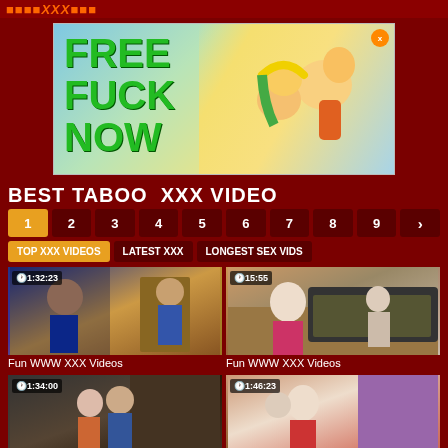BEST TABOO XXX VIDEO
[Figure (illustration): Advertisement banner with text FREE FUCK NOW in green on light background with cartoon figures]
BEST TABOO  XXX VIDEO
1 2 3 4 5 6 7 8 9 >
TOP XXX VIDEOS  LATEST XXX  LONGEST SEX VIDS
[Figure (photo): Video thumbnail showing indoor scene, duration 1:32:23]
Fun WWW XXX Videos
[Figure (photo): Video thumbnail showing bedroom scene, duration 15:55]
Fun WWW XXX Videos
[Figure (photo): Video thumbnail showing couple scene, duration 1:34:00]
[Figure (photo): Video thumbnail showing indoor scene, duration 1:46:23]